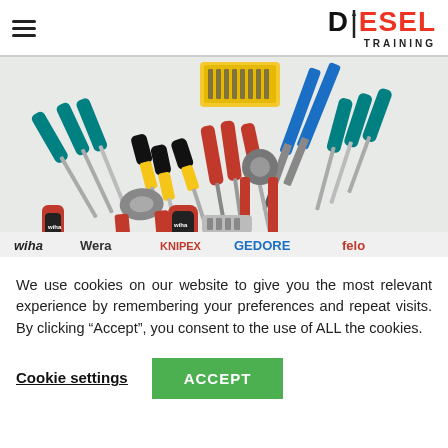DIESEL TRAINING (logo with hamburger menu)
[Figure (photo): A collection of hand tools including screwdrivers (Wera, Wiha, Felo), pliers (Knipex), and other tools spread on a white background. Brands visible include wiha, Wera, KNIPEX, GEDORE, felo.]
We use cookies on our website to give you the most relevant experience by remembering your preferences and repeat visits. By clicking “Accept”, you consent to the use of ALL the cookies.
Cookie settings
ACCEPT